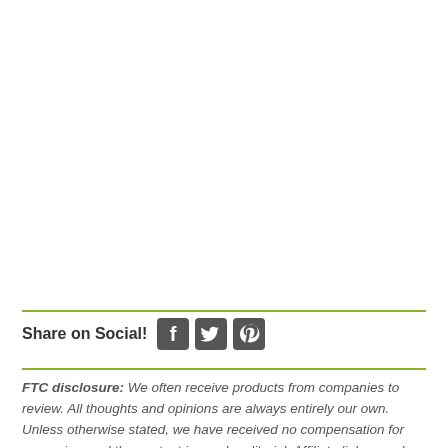Share on Social!
FTC disclosure: We often receive products from companies to review. All thoughts and opinions are always entirely our own. Unless otherwise stated, we have received no compensation for our review and the content is purely editorial. Affiliate links may be included. If